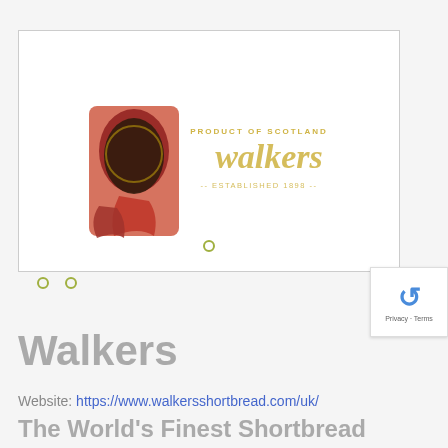[Figure (logo): Walkers Shortbread logo inside a white bordered slideshow/carousel box. Shows the Walkers brand logo with 'PRODUCT OF SCOTLAND' text above, 'walkers' in script lettering, and 'ESTABLISHED 1898' below, with a Scottish piper figure on the left.]
[Figure (other): reCAPTCHA badge in the upper right corner showing a recycling-arrow icon and 'Privacy - Terms' text]
Walkers
Website: https://www.walkersshortbread.com/uk/
The World's Finest Shortbread